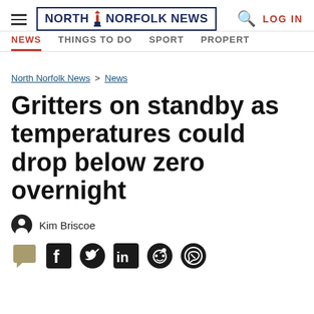North Norfolk News — NEWS | THINGS TO DO | SPORT | PROPERTY
North Norfolk News > News
Gritters on standby as temperatures could drop below zero overnight
Kim Briscoe